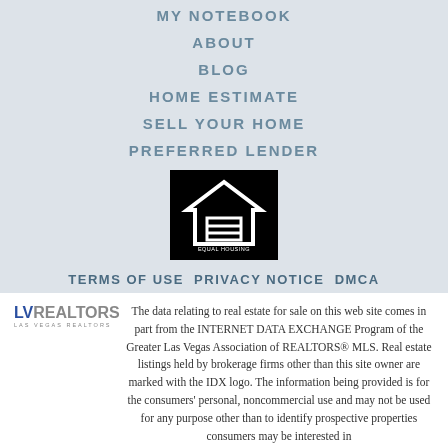MY NOTEBOOK
ABOUT
BLOG
HOME ESTIMATE
SELL YOUR HOME
PREFERRED LENDER
[Figure (logo): Equal Housing Opportunity logo — white house icon with equal sign on black background, text reads EQUAL HOUSING OPPORTUNITY]
TERMS OF USE PRIVACY NOTICE DMCA
LVR REALTORS LAS VEGAS REALTORS The data relating to real estate for sale on this web site comes in part from the INTERNET DATA EXCHANGE Program of the Greater Las Vegas Association of REALTORS® MLS. Real estate listings held by brokerage firms other than this site owner are marked with the IDX logo. The information being provided is for the consumers' personal, noncommercial use and may not be used for any purpose other than to identify prospective properties consumers may be interested in